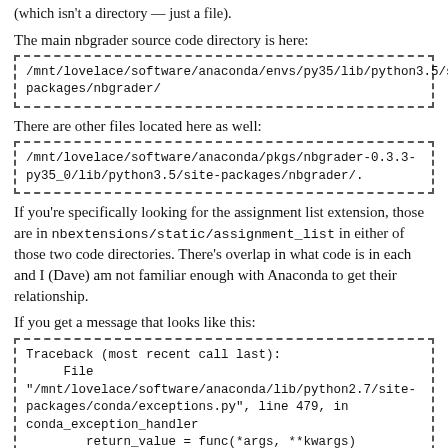(which isn't a directory — just a file).
The main nbgrader source code directory is here:
/mnt/lovelace/software/anaconda/envs/py35/lib/python3.5/site-packages/nbgrader/
There are other files located here as well:
/mnt/lovelace/software/anaconda/pkgs/nbgrader-0.3.3-py35_0/lib/python3.5/site-packages/nbgrader/.
If you’re specifically looking for the assignment list extension, those are in nbextensions/static/assignment_list in either of those two code directories. There’s overlap in what code is in each and I (Dave) am not familiar enough with Anaconda to get their relationship.
If you get a message that looks like this:
Traceback (most recent call last):
     File "/mnt/lovelace/software/anaconda/lib/python2.7/site-packages/conda/exceptions.py", line 479, in
conda_exception_handler
      return_value = func(*args, **kwargs)